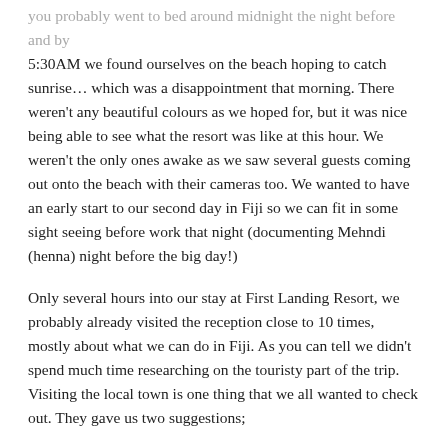you probably went to bed around midnight the night before and by 5:30AM we found ourselves on the beach hoping to catch sunrise… which was a disappointment that morning. There weren't any beautiful colours as we hoped for, but it was nice being able to see what the resort was like at this hour. We weren't the only ones awake as we saw several guests coming out onto the beach with their cameras too. We wanted to have an early start to our second day in Fiji so we can fit in some sight seeing before work that night (documenting Mehndi (henna) night before the big day!)
Only several hours into our stay at First Landing Resort, we probably already visited the reception close to 10 times, mostly about what we can do in Fiji. As you can tell we didn't spend much time researching on the touristy part of the trip. Visiting the local town is one thing that we all wanted to check out. They gave us two suggestions;
1. Nadi – 40min drive away
2. Lautoka – 10min drive away
We went for the first option, going to someone further incase we